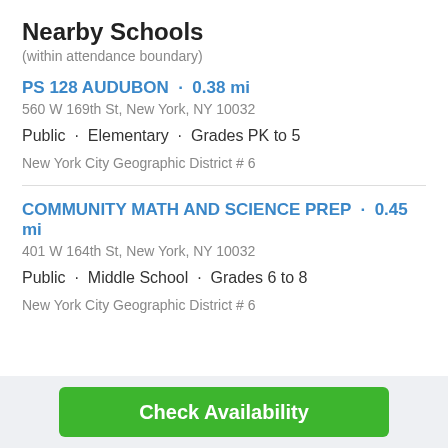Nearby Schools
(within attendance boundary)
PS 128 AUDUBON · 0.38 mi
560 W 169th St, New York, NY 10032
Public · Elementary · Grades PK to 5
New York City Geographic District # 6
COMMUNITY MATH AND SCIENCE PREP · 0.45 mi
401 W 164th St, New York, NY 10032
Public · Middle School · Grades 6 to 8
New York City Geographic District # 6
Check Availability